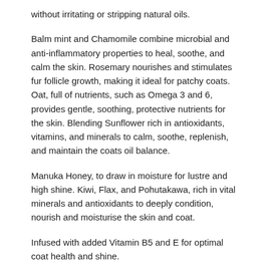without irritating or stripping natural oils.
Balm mint and Chamomile combine microbial and anti-inflammatory properties to heal, soothe, and calm the skin. Rosemary nourishes and stimulates fur follicle growth, making it ideal for patchy coats. Oat, full of nutrients, such as Omega 3 and 6, provides gentle, soothing, protective nutrients for the skin. Blending Sunflower rich in antioxidants, vitamins, and minerals to calm, soothe, replenish, and maintain the coats oil balance.
Manuka Honey, to draw in moisture for lustre and high shine. Kiwi, Flax, and Pohutakawa, rich in vital minerals and antioxidants to deeply condition, nourish and moisturise the skin and coat.
Infused with added Vitamin B5 and E for optimal coat health and shine.
Delicately fragranced with smith&burton's natural signature Scent No.3 for a light, beautiful fragrance.